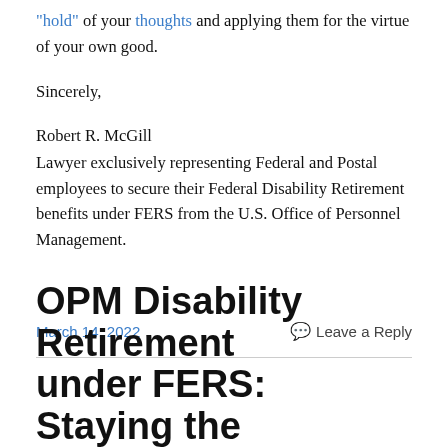“hold” of your thoughts and applying them for the virtue of your own good.
Sincerely,
Robert R. McGill
Lawyer exclusively representing Federal and Postal employees to secure their Federal Disability Retirement benefits under FERS from the U.S. Office of Personnel Management.
March 14, 2022    Leave a Reply
OPM Disability Retirement under FERS: Staying the